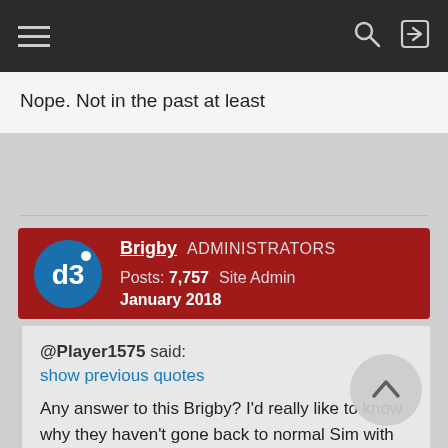Navigation bar with hamburger menu, search and login icons
Nope. Not in the past at least
Brigby  ADMINISTRATORS  Posts: 7,757  Site Admin
January 2018
@Player1575 said:
show previous quotes
Any answer to this Brigby? I'd really like to know why they haven't gone back to normal Sim with all the characters in it. I was looking forward to some crazy antics like a match with America Chavez and Vulture or Medusa or someone else who can generate extra ap for the team.